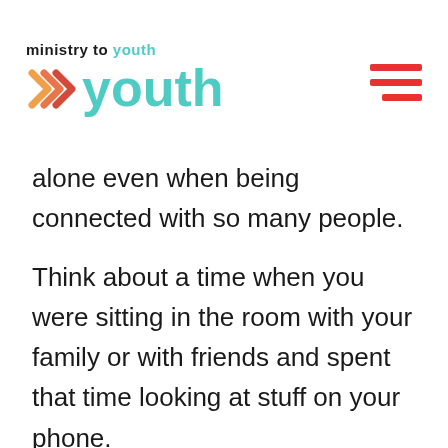ministry to youth
alone even when being connected with so many people.
Think about a time when you were sitting in the room with your family or with friends and spent that time looking at stuff on your phone.
I want you to take a moment right now and think about this: imagine you were looking at a photo collage of the